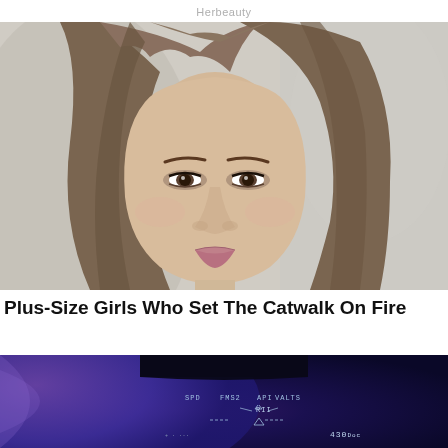Herbeauty
[Figure (photo): Close-up portrait of a young woman with long straight brown hair, wearing makeup with defined eyes, looking slightly to the side. Blurred outdoor background.]
Plus-Size Girls Who Set The Catwalk On Fire
Brainberries
[Figure (photo): Close-up of a purple/violet curved device surface (possibly a helmet or vehicle panel) showing a digital HUD display with text including SPD, FMS2, API, VALTS, RII, and numerical readouts including 430.]